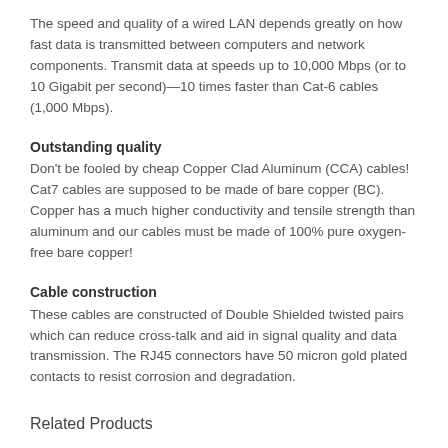The speed and quality of a wired LAN depends greatly on how fast data is transmitted between computers and network components. Transmit data at speeds up to 10,000 Mbps (or to 10 Gigabit per second)—10 times faster than Cat-6 cables (1,000 Mbps).
Outstanding quality
Don't be fooled by cheap Copper Clad Aluminum (CCA) cables! Cat7 cables are supposed to be made of bare copper (BC). Copper has a much higher conductivity and tensile strength than aluminum and our cables must be made of 100% pure oxygen-free bare copper!
Cable construction
These cables are constructed of Double Shielded twisted pairs which can reduce cross-talk and aid in signal quality and data transmission. The RJ45 connectors have 50 micron gold plated contacts to resist corrosion and degradation.
Related Products